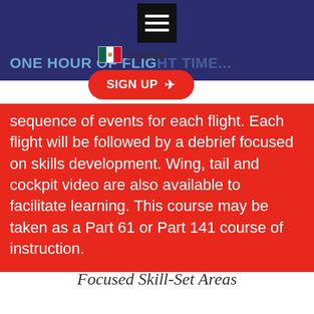[Figure (screenshot): Dark blue navigation bar with hamburger menu icon, Mexican flag with Español label, and a red SIGN UP button with arrow]
ONE HOUR OF FLIGHT TIME...
is anticipated to co...ll
sequence of events for each flight. Each flight will be followed by a debrief focused on skills development. Wing, tail and cockpit video are also available to facilitate learning. This course may be taken as a Part 61 or Part 141 course of instruction.
UPCOMING CLASSES
Focused Skill-Set Areas